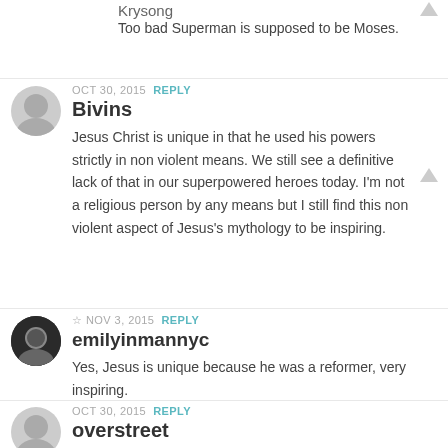Krysong
Too bad Superman is supposed to be Moses.
OCT 30, 2015  REPLY
Bivins
Jesus Christ is unique in that he used his powers strictly in non violent means. We still see a definitive lack of that in our superpowered heroes today. I'm not a religious person by any means but I still find this non violent aspect of Jesus's mythology to be inspiring.
☆ NOV 3, 2015  REPLY
emilyinmannyc
Yes, Jesus is unique because he was a reformer, very inspiring.
OCT 30, 2015  REPLY
overstreet
That shot of Supe flying back from Jor-el in a